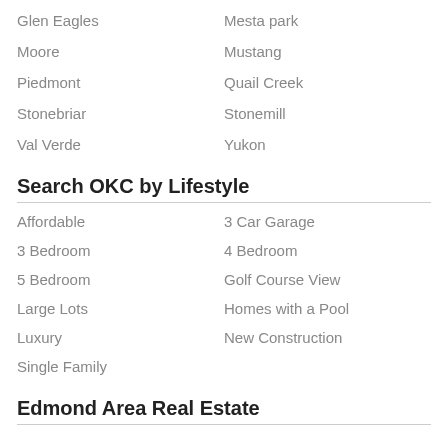Glen Eagles
Mesta park
Moore
Mustang
Piedmont
Quail Creek
Stonebriar
Stonemill
Val Verde
Yukon
Search OKC by Lifestyle
Affordable
3 Car Garage
3 Bedroom
4 Bedroom
5 Bedroom
Golf Course View
Large Lots
Homes with a Pool
Luxury
New Construction
Single Family
Edmond Area Real Estate